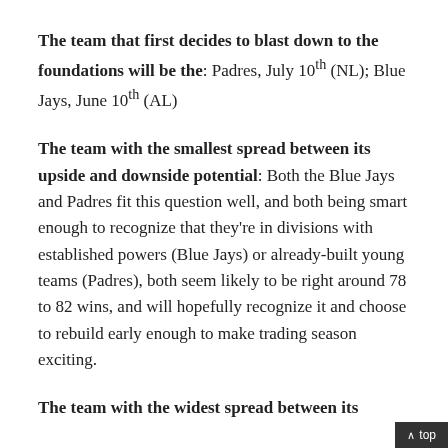The team that first decides to blast down to the foundations will be the: Padres, July 10th (NL); Blue Jays, June 10th (AL)
The team with the smallest spread between its upside and downside potential: Both the Blue Jays and Padres fit this question well, and both being smart enough to recognize that they're in divisions with established powers (Blue Jays) or already-built young teams (Padres), both seem likely to be right around 78 to 82 wins, and will hopefully recognize it and choose to rebuild early enough to make trading season exciting.
The team with the widest spread between its